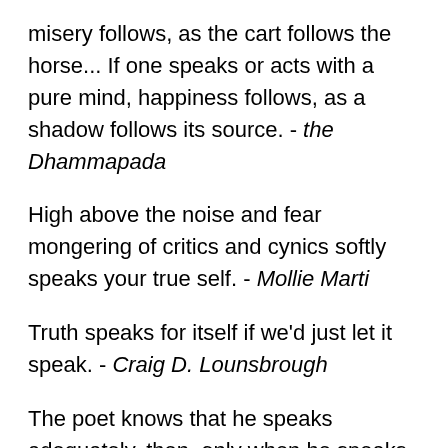misery follows, as the cart follows the horse... If one speaks or acts with a pure mind, happiness follows, as a shadow follows its source. - the Dhammapada
High above the noise and fear mongering of critics and cynics softly speaks your true self. - Mollie Marti
Truth speaks for itself if we'd just let it speak. - Craig D. Lounsbrough
The poet knows that he speaks adequately, then, only when he speaks somewhat wildly. - Ralph Waldo Emerson
I heard of a manwho says words so